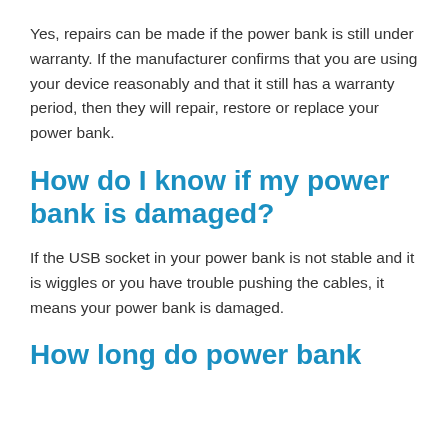Yes, repairs can be made if the power bank is still under warranty. If the manufacturer confirms that you are using your device reasonably and that it still has a warranty period, then they will repair, restore or replace your power bank.
How do I know if my power bank is damaged?
If the USB socket in your power bank is not stable and it is wiggles or you have trouble pushing the cables, it means your power bank is damaged.
How long do power bank